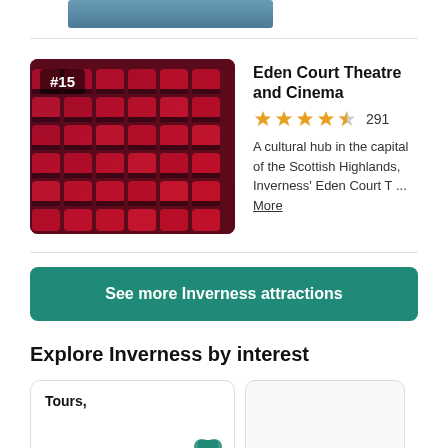[Figure (photo): Partial top image of a lake or scenic view, cropped]
[Figure (photo): Theater seats — rows of red velvet cinema/theatre seats, with #15 badge overlay]
Eden Court Theatre and Cinema
★★★★½  291
A cultural hub in the capital of the Scottish Highlands, Inverness' Eden Court T ... More
See more Inverness attractions
Explore Inverness by interest
Tours,